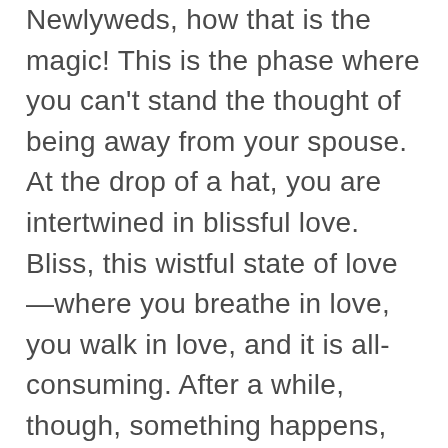Newlyweds, how that is the magic! This is the phase where you can't stand the thought of being away from your spouse. At the drop of a hat, you are intertwined in blissful love. Bliss, this wistful state of love—where you breathe in love, you walk in love, and it is all-consuming. After a while, though, something happens, whether it is the birth of your newborn or just the routine of life, you realize you are not a newlywed, but you are moving into the business of marriage.